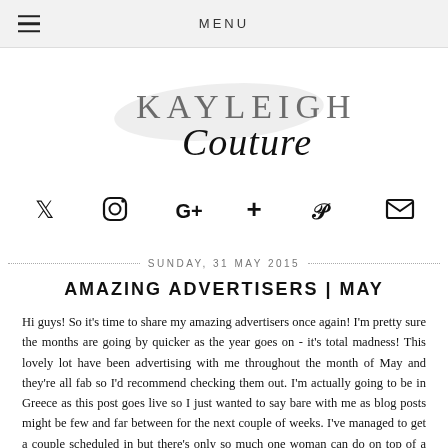MENU
[Figure (logo): Kayleigh Couture blog logo with brush stroke background, 'KAYLEIGH' in spaced uppercase serif and 'Couture' in cursive script]
[Figure (infographic): Row of social media icons: Twitter bird, Instagram camera, Google+, RSS/plus, Pinterest, Email envelope]
SUNDAY, 31 MAY 2015
AMAZING ADVERTISERS | MAY
Hi guys! So it's time to share my amazing advertisers once again! I'm pretty sure the months are going by quicker as the year goes on - it's total madness! This lovely lot have been advertising with me throughout the month of May and they're all fab so I'd recommend checking them out. I'm actually going to be in Greece as this post goes live so I just wanted to say bare with me as blog posts might be few and far between for the next couple of weeks. I've managed to get a couple scheduled in but there's only so much one woman can do on top of a full time job! However, if you want to see what I get up to in M...